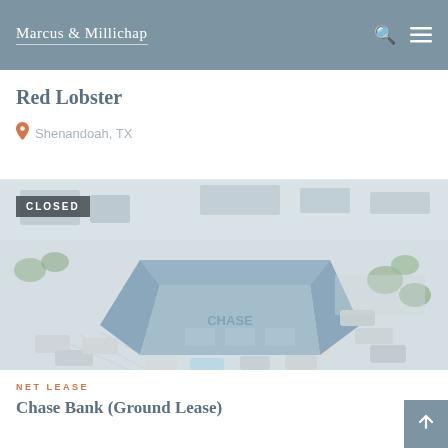Marcus & Millichap
Red Lobster
Shenandoah, TX
[Figure (photo): Aerial drone photo of a Chase Bank building with blue metal roof, surrounded by parking lot and trees, with a CLOSED badge overlay in the upper left corner]
NET LEASE
Chase Bank (Ground Lease)